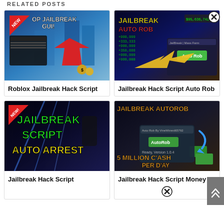RELATED POSTS
[Figure (screenshot): Roblox Jailbreak game screenshot with 'NEW' badge, 'OP JAILBREAK GUI!' text, game character and red arrow]
Roblox Jailbreak Hack Script
[Figure (screenshot): Jailbreak Auto Rob script screenshot with '$95,636,742' money display and yellow arrow]
Jailbreak Hack Script Auto Rob
[Figure (screenshot): Jailbreak Script Auto Arrest screenshot with 'NEW!' badge and green/yellow text]
Jailbreak Hack Script
[Figure (screenshot): Jailbreak AutoRob screenshot with '5 MILLION CASH PER DAY' text and AutoRob button]
Jailbreak Hack Script Money